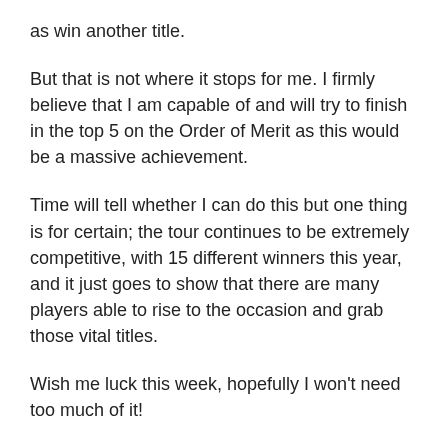as win another title.
But that is not where it stops for me. I firmly believe that I am capable of and will try to finish in the top 5 on the Order of Merit as this would be a massive achievement.
Time will tell whether I can do this but one thing is for certain; the tour continues to be extremely competitive, with 15 different winners this year, and it just goes to show that there are many players able to rise to the occasion and grab those vital titles.
Wish me luck this week, hopefully I won't need too much of it!
> Gary is the official ambassador for MacWet – the 'all grip, no slip' gloves. They promise an unrivalled grip in all